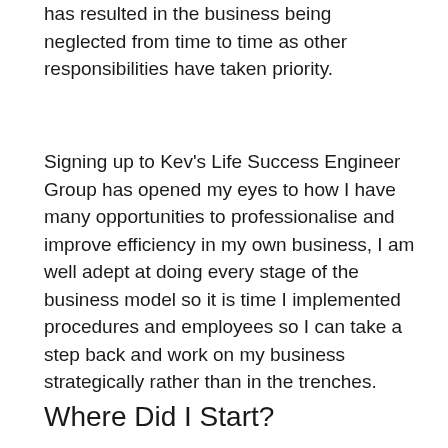has resulted in the business being neglected from time to time as other responsibilities have taken priority.
Signing up to Kev's Life Success Engineer Group has opened my eyes to how I have many opportunities to professionalise and improve efficiency in my own business, I am well adept at doing every stage of the business model so it is time I implemented procedures and employees so I can take a step back and work on my business strategically rather than in the trenches.
Where Did I Start?